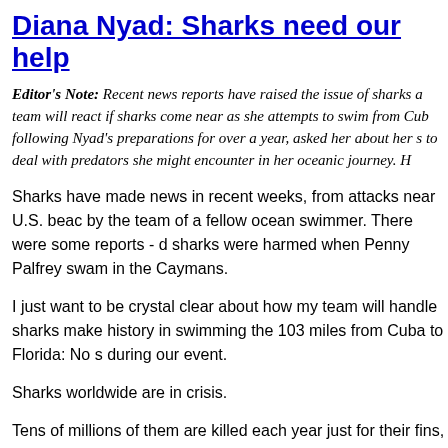Diana Nyad: Sharks need our help
Editor's Note: Recent news reports have raised the issue of sharks and how Nyad's team will react if sharks come near as she attempts to swim from Cuba. CNN, which has been following Nyad's preparations for over a year, asked her about her stance on how she plans to deal with predators she might encounter in her oceanic journey. H...
Sharks have made news in recent weeks, from attacks near U.S. beaches to a report by the team of a fellow ocean swimmer. There were some reports - disputed - that some sharks were harmed when Penny Palfrey swam in the Caymans.
I just want to be crystal clear about how my team will handle sharks when we try to make history in swimming the 103 miles from Cuba to Florida: No sharks will be harmed during our event.
Sharks worldwide are in crisis.
Tens of millions of them are killed each year just for their fins, often thrown back alive. At this rate, we will lose our ocean sharks within the next decade.
Agreed, our team has worked hard toward this world record. But it is equally important that we achieve the dream in perfect harmony with all the creatures of the ocean. With some regard, I am humbly asking the sharks of this particular ocean to let us skim the surface of their home for about three days. I am duly respectful of their extraordinary habitat, as is every individual on the Xtreme Dream Team.